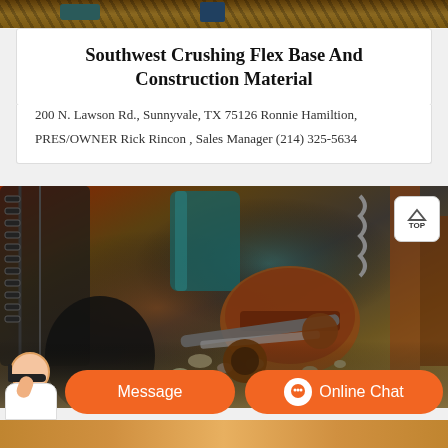[Figure (photo): Top partial photo of industrial crushing machinery with dark metallic chains and equipment]
Southwest Crushing Flex Base And Construction Material
200 N. Lawson Rd., Sunnyvale, TX 75126 Ronnie Hamiltion, PRES/OWNER Rick Rincon , Sales Manager (214) 325-5634
[Figure (photo): Industrial crushing machine with conveyor belt, rollers, and gravel aggregate material being processed]
[Figure (screenshot): Orange chat bar with Message button and Online Chat button, plus customer service avatar]